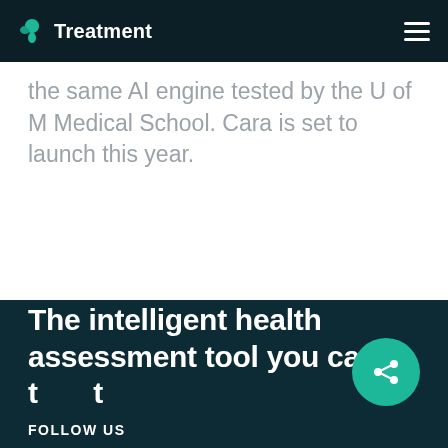Treatment
the same AI engine tested by the U of M Medical School. Cara is set to launch this year.
The intelligent health assessment tool you can trust
FOLLOW US